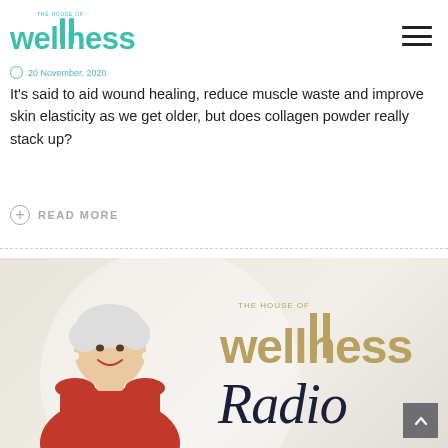The House of Wellness
20 November, 2020
It's said to aid wound healing, reduce muscle waste and improve skin elasticity as we get older, but does collagen powder really stack up?
READ MORE
[Figure (photo): The House of Wellness Radio promotional image featuring a woman with short white hair wearing a red dress, with the House of Wellness Radio logo overlay on a light beige/cream background]